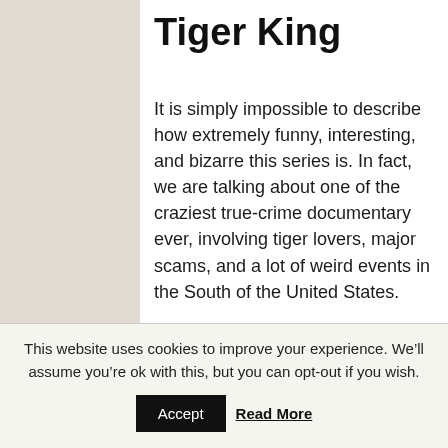Tiger King
It is simply impossible to describe how extremely funny, interesting, and bizarre this series is. In fact, we are talking about one of the craziest true-crime documentary ever, involving tiger lovers, major scams, and a lot of weird events in the South of the United States.
Tiger King’s setup is quite simple: Famous Director Eric Goode starts
This website uses cookies to improve your experience. We'll assume you're ok with this, but you can opt-out if you wish.
Accept
Read More